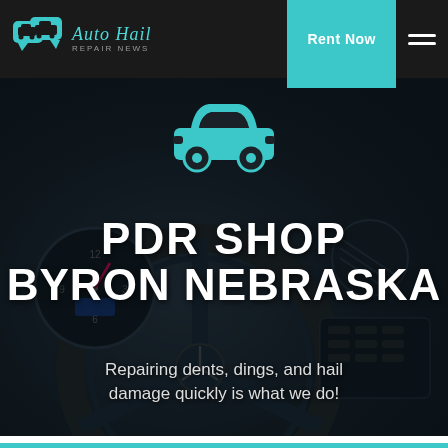Auto Hail Repair News — Rent Now
[Figure (screenshot): Dark car interior dashboard and steering wheel with Mercedes emblem, used as hero background image]
PDR SHOP BYRON NEBRASKA
Repairing dents, dings, and hail damage quickly is what we do!